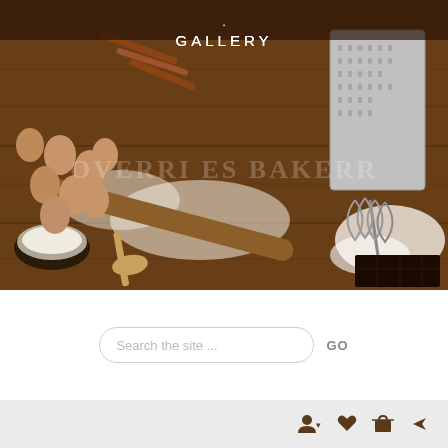[Figure (photo): Baking scene on wooden table with eggs, flour, rolling pin, wooden spoon, whisk, grater, chocolate bar, and flour scattered around. Photo has 'OVERRIPES BAKERY' watermark text overlaid.]
GALLERY
[Figure (screenshot): Search bar with placeholder text 'Search the site ...' and a GO button]
Footer bar with user account icon with dropdown, heart/favorites icon, shopping cart icon, and share icon